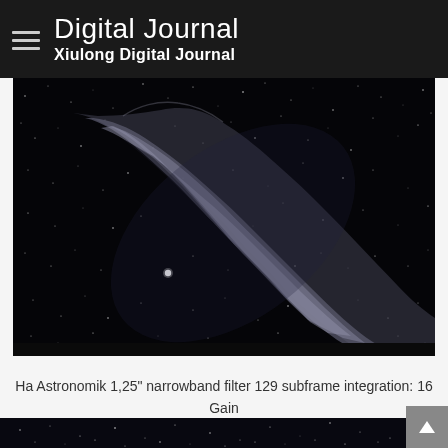Digital Journal
Xiulong Digital Journal
[Figure (photo): Black and white astrophotography image of a nebula (appears to be the Eastern Veil Nebula / NGC 6992) against a star-filled dark sky. The nebula forms a diagonal wispy filamentary structure running from upper-left to lower-right, with delicate cloud-like tendrils visible against the black background scattered with numerous stars.]
Ha Astronomik 1,25" narrowband filter 129 subframe integration: 16 Gain 200 offset 50, 300sec -20 Celsius, 113 180sec
[Figure (photo): Partially visible black and white astrophotography image at the bottom of the page, showing a star field.]